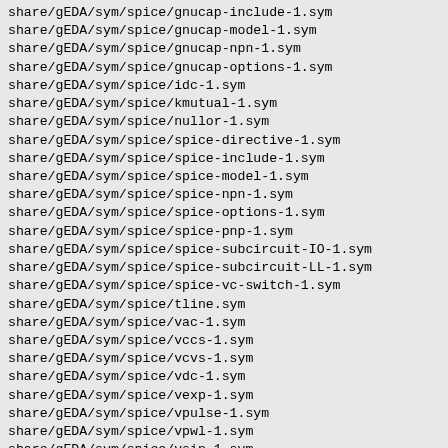share/gEDA/sym/spice/gnucap-include-1.sym
share/gEDA/sym/spice/gnucap-model-1.sym
share/gEDA/sym/spice/gnucap-npn-1.sym
share/gEDA/sym/spice/gnucap-options-1.sym
share/gEDA/sym/spice/idc-1.sym
share/gEDA/sym/spice/kmutual-1.sym
share/gEDA/sym/spice/nullor-1.sym
share/gEDA/sym/spice/spice-directive-1.sym
share/gEDA/sym/spice/spice-include-1.sym
share/gEDA/sym/spice/spice-model-1.sym
share/gEDA/sym/spice/spice-npn-1.sym
share/gEDA/sym/spice/spice-options-1.sym
share/gEDA/sym/spice/spice-pnp-1.sym
share/gEDA/sym/spice/spice-subcircuit-IO-1.sym
share/gEDA/sym/spice/spice-subcircuit-LL-1.sym
share/gEDA/sym/spice/spice-vc-switch-1.sym
share/gEDA/sym/spice/tline.sym
share/gEDA/sym/spice/vac-1.sym
share/gEDA/sym/spice/vccs-1.sym
share/gEDA/sym/spice/vcvs-1.sym
share/gEDA/sym/spice/vdc-1.sym
share/gEDA/sym/spice/vexp-1.sym
share/gEDA/sym/spice/vpulse-1.sym
share/gEDA/sym/spice/vpwl-1.sym
share/gEDA/sym/spice/vsin-1.sym
share/gEDA/sym/spice/wline-1x.sym
share/gEDA/sym/st/ST7538-1.sym
share/gEDA/sym/supervisor/adm707.sym
share/gEDA/sym/switcap/switcap-analysis-1.sym
share/gEDA/sym/switcap/switcap-capacitor-1.sym
share/gEDA/sym/switcap/switcap-clock-1.sym